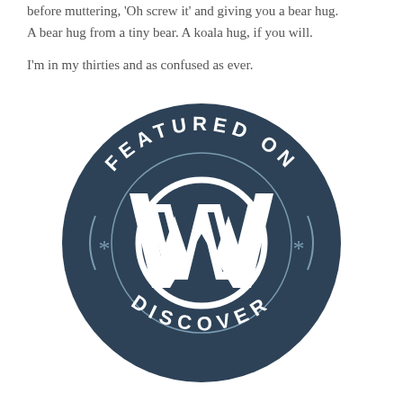before muttering, 'Oh screw it' and giving you a bear hug. A bear hug from a tiny bear. A koala hug, if you will.
I'm in my thirties and as confused as ever.
[Figure (logo): WordPress 'Featured on Discover' badge — dark blue circle with the WordPress W logo in the center, text 'FEATURED ON' arcing along the top and 'DISCOVER' arcing along the bottom, with asterisk decorations on the left and right sides.]